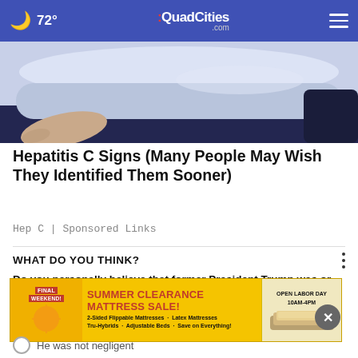72° | QuadCities.com
[Figure (illustration): Illustration of a person sleeping in bed, seen from above, with pillow and bedding in blue/grey tones, hand visible at bottom left.]
Hepatitis C Signs (Many People May Wish They Identified Them Sooner)
Hep C | Sponsored Links
WHAT DO YOU THINK?
Do you personally believe that former President Trump was or was not negligent with classified government documents after his presidency was over?
[Figure (screenshot): Summer Clearance Mattress Sale advertisement banner. Text: FINAL WEEKEND! SUMMER CLEARANCE MATTRESS SALE! 2-Sided Flippable Mattresses · Latex Mattresses · Tru-Hybrids · Adjustable Beds · Save on Everything! OPEN LABOR DAY 10AM-4PM]
He was not negligent